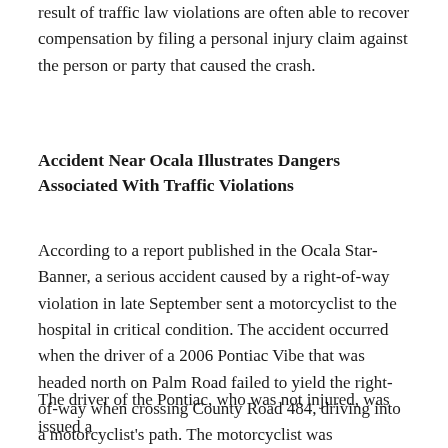result of traffic law violations are often able to recover compensation by filing a personal injury claim against the person or party that caused the crash.
Accident Near Ocala Illustrates Dangers Associated With Traffic Violations
According to a report published in the Ocala Star-Banner, a serious accident caused by a right-of-way violation in late September sent a motorcyclist to the hospital in critical condition. The accident occurred when the driver of a 2006 Pontiac Vibe that was headed north on Palm Road failed to yield the right-of-way when crossing County Road 484, driving into a motorcyclist's path. The motorcyclist was transported to Ocala Regional Medical Center but has since been moved to Orlando Regional Medical Center, where reports indicate that he is alert and talking.
The driver of the Pontiac, who was not injured, was issued a